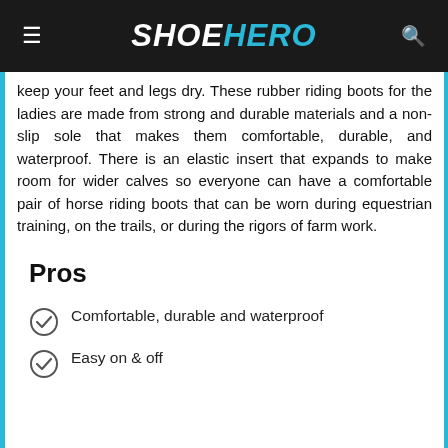SHOE HERO
keep your feet and legs dry. These rubber riding boots for the ladies are made from strong and durable materials and a non-slip sole that makes them comfortable, durable, and waterproof. There is an elastic insert that expands to make room for wider calves so everyone can have a comfortable pair of horse riding boots that can be worn during equestrian training, on the trails, or during the rigors of farm work.
Pros
Comfortable, durable and waterproof
Easy on & off